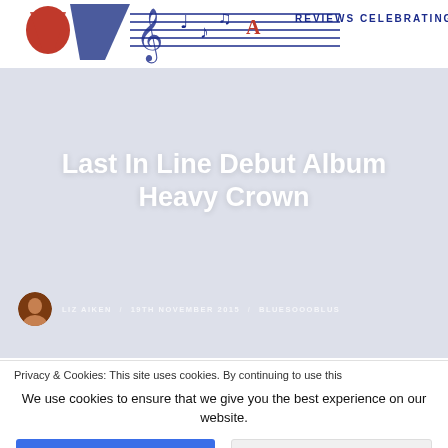REVIEWS CELEBRATING TH...
Last In Line Debut Album Heavy Crown
LIZ AIKEN / 19TH NOVEMBER 2015 / BLUESOOOBLUS
Privacy & Cookies: This site uses cookies. By continuing to use this
We use cookies to ensure that we give you the best experience on our website.
Accept
Decline